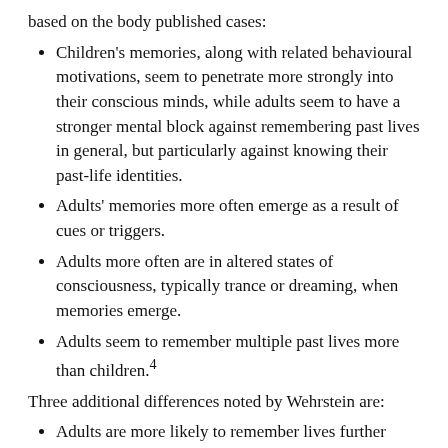based on the body published cases:
Children's memories, along with related behavioural motivations, seem to penetrate more strongly into their conscious minds, while adults seem to have a stronger mental block against remembering past lives in general, but particularly against knowing their past-life identities.
Adults' memories more often emerge as a result of cues or triggers.
Adults more often are in altered states of consciousness, typically trance or dreaming, when memories emerge.
Adults seem to remember multiple past lives more than children.4
Three additional differences noted by Wehrstein are:
Adults are more likely to remember lives further back in time than children.